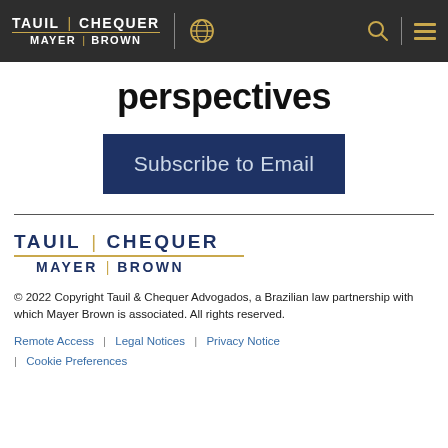[Figure (logo): Tauil Chequer Mayer Brown logo in white text on dark background header bar with globe icon, search icon, and hamburger menu icon in gold]
perspectives
Subscribe to Email
[Figure (logo): Tauil | Chequer Mayer | Brown logo in navy blue with gold separator line]
© 2022 Copyright Tauil & Chequer Advogados, a Brazilian law partnership with which Mayer Brown is associated. All rights reserved.
Remote Access  |  Legal Notices  |  Privacy Notice  |  Cookie Preferences